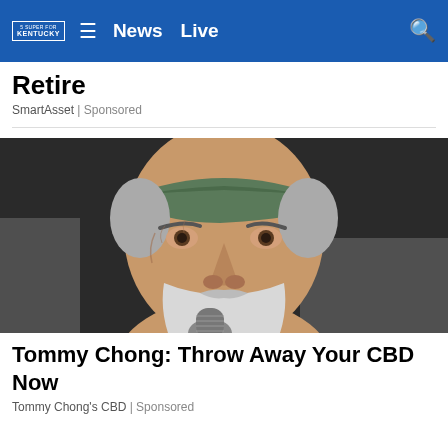News  Live
Retire
SmartAsset | Sponsored
[Figure (photo): Close-up photo of an older man with gray beard and green bandana headband, holding a microphone, likely Tommy Chong]
Tommy Chong: Throw Away Your CBD Now
Tommy Chong's CBD | Sponsored